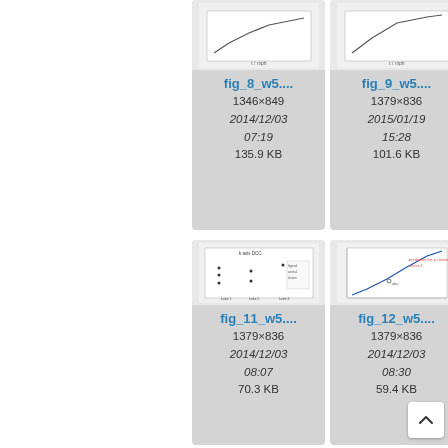[Figure (screenshot): File browser thumbnail grid showing scientific figure files. Top row: fig_8_w5 (1346x849, 2014/12/03 07:19, 135.9 KB), fig_9_w5 (1379x836, 2015/01/19 15:28, 101.6 KB), fig_10 partial. Bottom row: fig_11_w5 (1379x836, 2014/12/03 08:07, 70.3 KB), fig_12_w5 (1379x836, 2014/12/03 08:30, 59.4 KB), fig_13 partial with icons.]